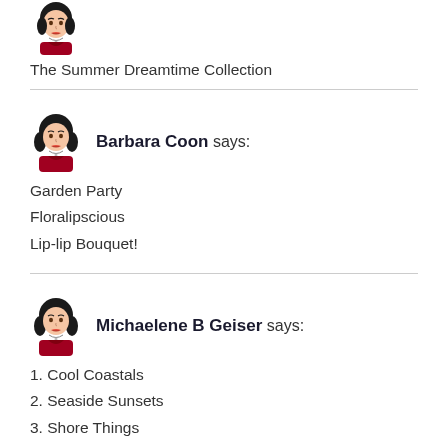[Figure (illustration): Cartoon avatar of a woman with dark hair wearing a red dress, top portion visible]
The Summer Dreamtime Collection
[Figure (illustration): Cartoon avatar of a woman with dark curly hair wearing a red dress]
Barbara Coon says:
Garden Party
Floralipscious
Lip-lip Bouquet!
[Figure (illustration): Cartoon avatar of a woman with dark curly hair wearing a red dress]
Michaelene B Geiser says:
1. Cool Coastals
2. Seaside Sunsets
3. Shore Things